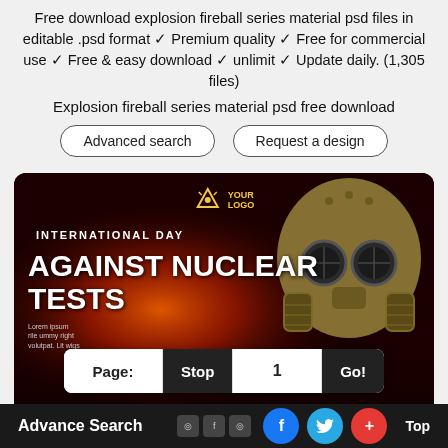Free download explosion fireball series material psd files in editable .psd format ✓ Premium quality ✓ Free for commercial use ✓ Free & easy download ✓ unlimit ✓ Update daily. (1,305 files)
Explosion fireball series material psd free download
Advanced search
Request a design
[Figure (illustration): Dark red/black background with gas mask figure and fireball, overlaid with text 'INTERNATIONAL DAY AGAINST NUCLEAR TESTS' and YOUR LOGO placeholder, plus pagination bar showing Page: Stop 1 Go! and lorem ipsum text, design credit 'Design by All-free-do...m']
Advance Search  [Facebook] [Twitter] [+] [Top]